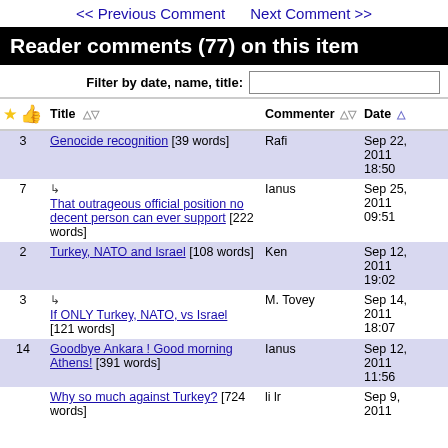<< Previous Comment   Next Comment >>
Reader comments (77) on this item
Filter by date, name, title:
| ★ 👍 | Title | Commenter | Date |
| --- | --- | --- | --- |
| 3 | Genocide recognition [39 words] | Rafi | Sep 22, 2011 18:50 |
| 7 | ↳ That outrageous official position no decent person can ever support [222 words] | Ianus | Sep 25, 2011 09:51 |
| 2 | Turkey, NATO and Israel [108 words] | Ken | Sep 12, 2011 19:02 |
| 3 | ↳ If ONLY Turkey, NATO, vs Israel [121 words] | M. Tovey | Sep 14, 2011 18:07 |
| 14 | Goodbye Ankara ! Good morning Athens! [391 words] | Ianus | Sep 12, 2011 11:56 |
|  | Why so much against Turkey? [724 words] | li lr | Sep 9, 2011 |